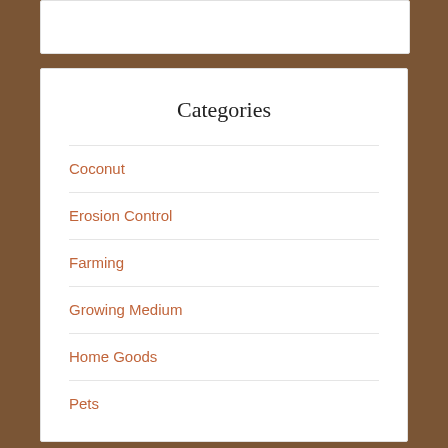Categories
Coconut
Erosion Control
Farming
Growing Medium
Home Goods
Pets